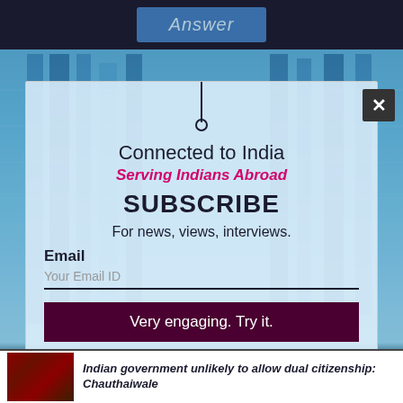[Figure (screenshot): Website subscription modal popup for 'Connected to India' news site, with blue building background. Modal contains site name, tagline, subscribe heading, email input field, CTA button, and category list. A close (X) button is at top right of modal. Below modal is a news article preview about Indian government dual citizenship.]
Connected to India
Serving Indians Abroad
SUBSCRIBE
For news, views, interviews.
Email
Your Email ID
Very engaging. Try it.
Business-Bollywood-Features-News-Fun-Stuff
Indian government unlikely to allow dual citizenship: Chauthaiwale